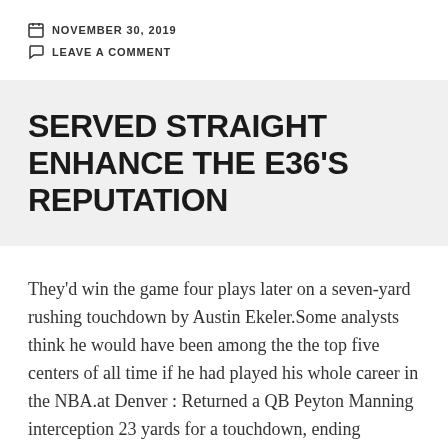NOVEMBER 30, 2019
LEAVE A COMMENT
SERVED STRAIGHT ENHANCE THE E36'S REPUTATION
They'd win the game four plays later on a seven-yard rushing touchdown by Austin Ekeler.Some analysts think he would have been among the the top five centers of all time if he had played his whole career in the NBA.at Denver : Returned a QB Peyton Manning interception 23 yards for a touchdown, ending Manning's streak of 231-straight passes at home without a pick...added